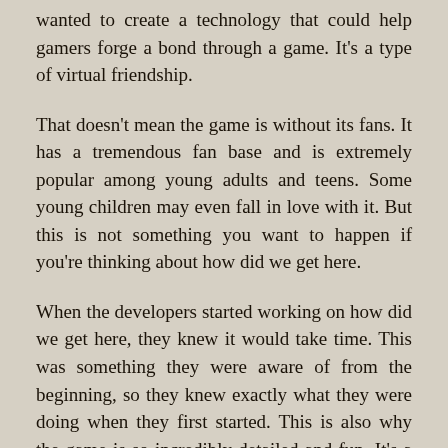wanted to create a technology that could help gamers forge a bond through a game. It's a type of virtual friendship.
That doesn't mean the game is without its fans. It has a tremendous fan base and is extremely popular among young adults and teens. Some young children may even fall in love with it. But this is not something you want to happen if you're thinking about how did we get here.
When the developers started working on how did we get here, they knew it would take time. This was something they were aware of from the beginning, so they knew exactly what they were doing when they first started. This is also why the game is so incredibly detailed and fun. It's a great way to spend a rainy afternoon or evening at home. And that's exactly what the entire game is about.